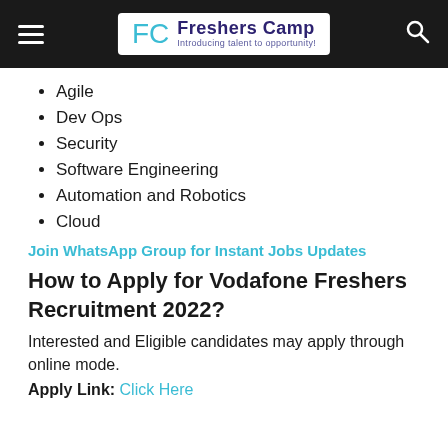Freshers Camp — Introducing talent to opportunity!
Agile
Dev Ops
Security
Software Engineering
Automation and Robotics
Cloud
Join WhatsApp Group for Instant Jobs Updates
How to Apply for Vodafone Freshers Recruitment 2022?
Interested and Eligible candidates may apply through online mode.
Apply Link: Click Here